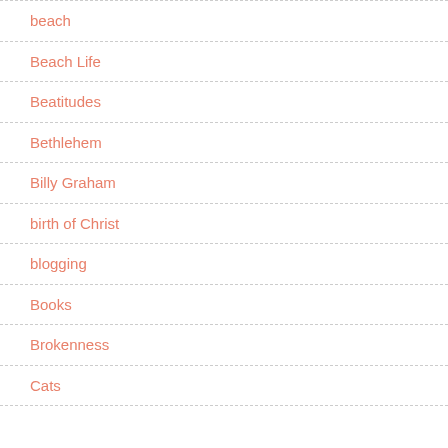beach
Beach Life
Beatitudes
Bethlehem
Billy Graham
birth of Christ
blogging
Books
Brokenness
Cats